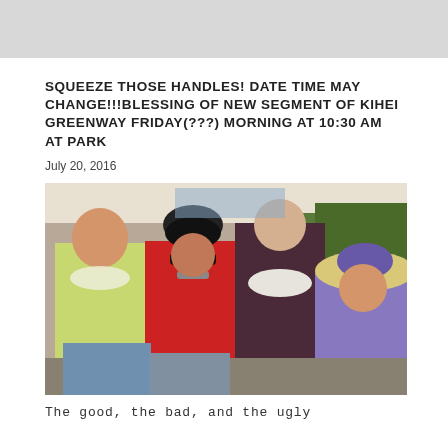[Figure (photo): Gray placeholder image at top of page, appears to be a cropped portion of an outdoor photo]
SQUEEZE THOSE HANDLES! DATE TIME MAY CHANGE!!!BLESSING OF NEW SEGMENT OF KIHEI GREENWAY FRIDAY(???) MORNING AT 10:30 AM AT PARK
July 20, 2016
[Figure (photo): Four people posing together outdoors under a tent at an event. From left: a man in a light yellow polo shirt wearing a flower lei, a man in a red shirt and bicycle helmet with sunglasses, a tall man in a dark maroon shirt wearing a white flower lei, and a woman in a purple floral dress wearing a large hat with purple flowers.]
The good, the bad, and the ugly